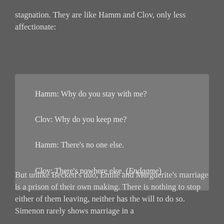stagnation. They are like Hamm and Clov, only less affectionate:
Hamm: Why do you stay with me?

Clov: Why do you keep me?

Hamm: There's no one else.

Clov: There's nowhere else. (Endgame)
But unlike Beckett's duo, Emile and Marguerite's marriage is a prison of their own making. There is nothing to stop either of them leaving, neither has the will to do so. Simenon rarely shows marriage in a